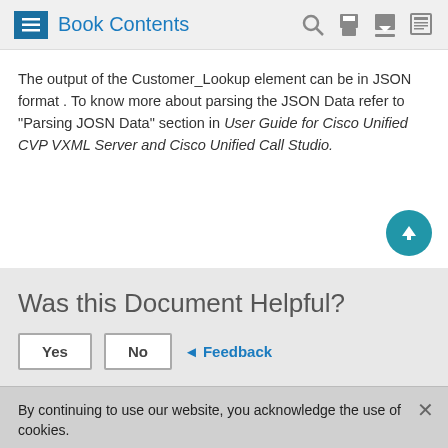Book Contents
The output of the Customer_Lookup element can be in JSON format . To know more about parsing the JSON Data refer to "Parsing JOSN Data" section in User Guide for Cisco Unified CVP VXML Server and Cisco Unified Call Studio.
Was this Document Helpful?
Yes   No   ◄ Feedback
By continuing to use our website, you acknowledge the use of cookies.
Privacy Statement >   Change Settings >